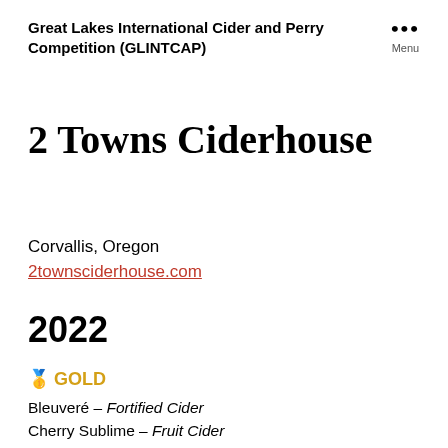Great Lakes International Cider and Perry Competition (GLINTCAP)
2 Towns Ciderhouse
Corvallis, Oregon
2townsciderhouse.com
2022
🥇 GOLD
Bleuveré – Fortified Cider
Cherry Sublime – Fruit Cider
Cosmic Crisp – Modern Cider – Sweet